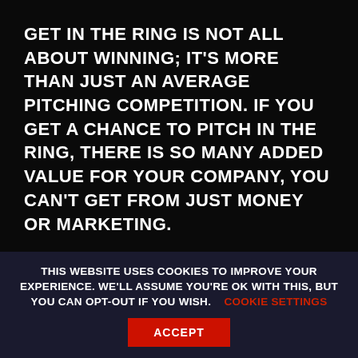GET IN THE RING IS NOT ALL ABOUT WINNING; IT'S MORE THAN JUST AN AVERAGE PITCHING COMPETITION. IF YOU GET A CHANCE TO PITCH IN THE RING, THERE IS SO MANY ADDED VALUE FOR YOUR COMPANY, YOU CAN'T GET FROM JUST MONEY OR MARKETING.
AFTER THE GOOD EXPERIENCE BERRY HAD DURING THE NATIONAL FINAL IN THE NETHERLANDS HE DECIDED TO JOIN GET IN THE RING IN COLOMBIA DURING THE INTERNATIONAL
THIS WEBSITE USES COOKIES TO IMPROVE YOUR EXPERIENCE. WE'LL ASSUME YOU'RE OK WITH THIS, BUT YOU CAN OPT-OUT IF YOU WISH. COOKIE SETTINGS
ACCEPT